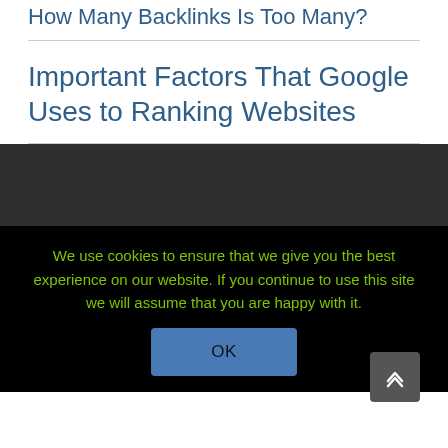How Many Backlinks Is Too Many?
Important Factors That Google Uses to Ranking Websites
We use cookies to ensure that we give you the best experience on our website. If you continue to use this site we will assume that you are happy with it.
OK